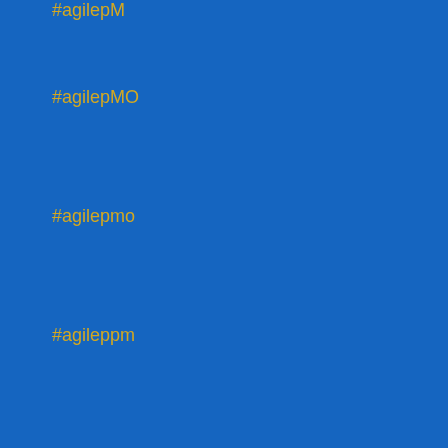#agilepM
#agilepMO
#agilepmo
#agileppm
#agileprojectmanagement
#AgileProjectManagement
#AgileProjectManagement
#agileprojectmanagementInfluencer
#agileprojectmanagementThoughtLeader
#agilequote